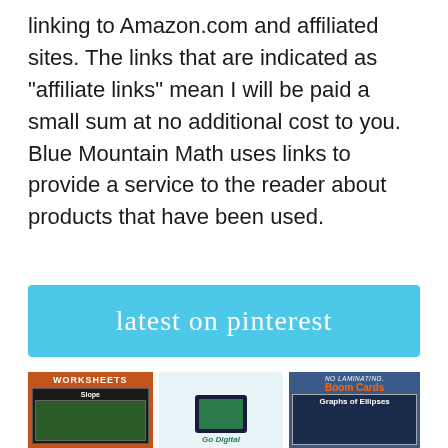linking to Amazon.com and affiliated sites. The links that are indicated as "affiliate links" mean I will be paid a small sum at no additional cost to you. Blue Mountain Math uses links to provide a service to the reader about products that have been used.
latest on pinterest
[Figure (photo): Three product thumbnail images side by side: 1) Worksheets with Slope graph on brick background, 2) Go Digital tablet image with pencil, 3) No Laminating Boom Cards - Graphs of Ellipses]